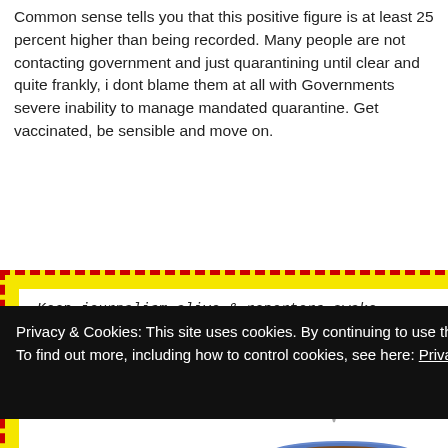Common sense tells you that this positive figure is at least 25 percent higher than being recorded. Many people are not contacting government and just quarantining until clear and quite frankly, i dont blame them at all with Governments severe inability to manage mandated quarantine. Get vaccinated, be sensible and move on.
[Figure (other): Advertisement popup with yellow dashed red border containing a white card. Text reads: 'Keep journalism alive & reporters awake' and 'Buy a cup of coffee for the CNS team' with an illustration of a blue coffee cup with steam.]
t I did during flu me and isolated
Privacy & Cookies: This site uses cookies. By continuing to use this website, you agree to their use.
To find out more, including how to control cookies, see here: Privacy & Cookie Policy